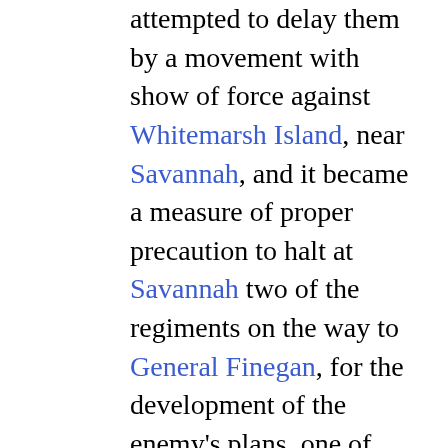attempted to delay them by a movement with show of force against Whitemarsh Island, near Savannah, and it became a measure of proper precaution to halt at Savannah two of the regiments on the way to General Finegan, for the development of the enemy's plans, one of which regiments, indeed, I felt it but prudent to detain there for the present. The want of adequate